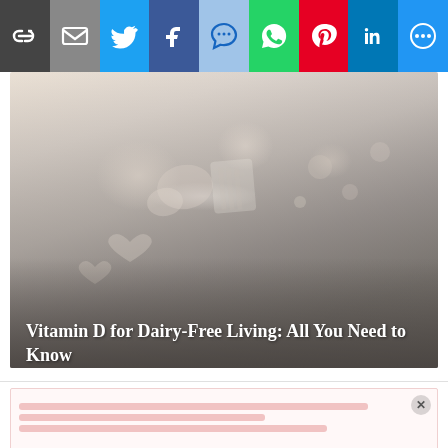[Figure (infographic): Social media share bar with icons: link/copy, email, Twitter, Facebook, SMS, WhatsApp, Pinterest, LinkedIn, More]
[Figure (photo): Hero image with blurred/faded food items (appears to show dairy-free foods, nuts, seeds, heart shapes) on a light beige background with dark gradient at bottom]
Vitamin D for Dairy-Free Living: All You Need to Know
[Figure (other): Advertisement strip at the bottom of the page with blurred red/pink text lines and a close (X) button]